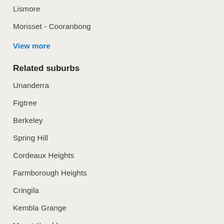Lismore
Morisset - Cooranbong
View more
Related suburbs
Unanderra
Figtree
Berkeley
Spring Hill
Cordeaux Heights
Farmborough Heights
Cringila
Kembla Grange
Mount Kembla
Mount Saint Thomas